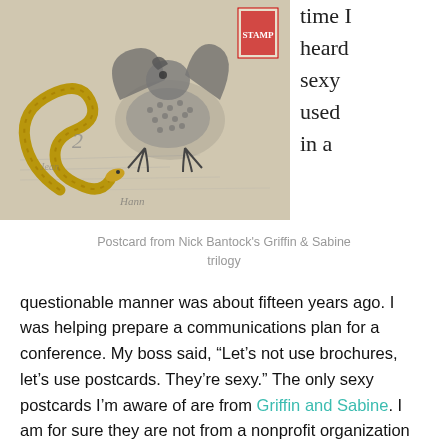[Figure (illustration): Postcard illustration from Nick Bantock's Griffin & Sabine trilogy, showing a mythical griffin creature with a serpent/snake tail, along with a postage stamp, on an aged postcard background with handwritten text.]
time I heard sexy used in a
Postcard from Nick Bantock's Griffin & Sabine trilogy
questionable manner was about fifteen years ago.  I was helping prepare a communications plan for a conference.  My boss said, “Let’s not use brochures, let’s use postcards.  They’re sexy.”  The only sexy postcards I’m aware of are from Griffin and Sabine.  I am for sure they are not from a nonprofit organization offering a training event on HIV prevention.